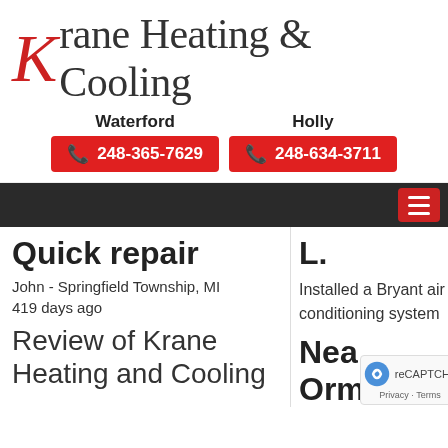[Figure (logo): Krane Heating & Cooling logo with stylized red K and serif text]
Waterford
248-365-7629
Holly
248-634-3711
[Figure (screenshot): Dark navigation bar with red hamburger menu button]
Quick repair
John - Springfield Township, MI
419 days ago
Review of Krane Heating and Cooling
Installed a Bryant air conditioning system
Nea
Ormond